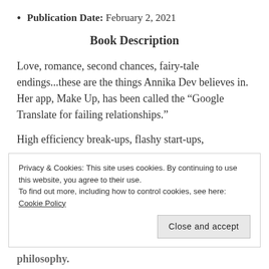Publication Date: February 2, 2021
Book Description
Love, romance, second chances, fairy-tale endings...these are the things Annika Dev believes in. Her app, Make Up, has been called the “Google Translate for failing relationships.”
High efficiency break-ups, flashy start-ups,
Privacy & Cookies: This site uses cookies. By continuing to use this website, you agree to their use.
To find out more, including how to control cookies, see here: Cookie Policy
Close and accept
philosophy.